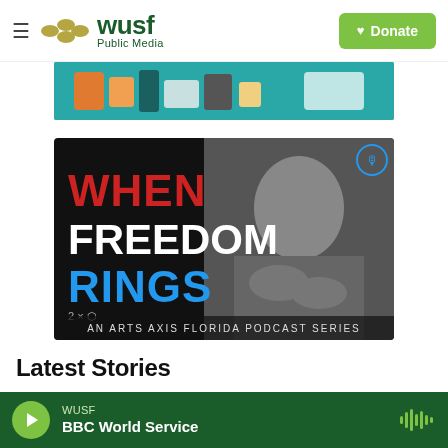WUSF Public Media — Donate
[Figure (photo): Top banner image showing prescription bottles and medication items on a teal background]
[Figure (photo): Promotional image for 'When Freedom Rings' — An Arts Axis Florida Podcast Series, showing bold red, white, and blue text on black background with a black-and-white portrait of a young Black woman posing thoughtfully]
Latest Stories
WUSF — BBC World Service (audio player bar)